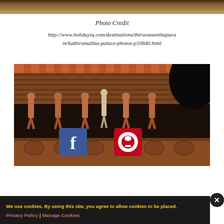[Figure (photo): Top cropped photo strip showing a colorful scene]
Photo Credit
http://www.holidayiq.com/destinations/thiruvananthapuram/kuthiramalika-palace-photos-p10840.html
[Figure (photo): Photo of Kuthiramalika Palace architecture showing carved wooden horse figures under the eave of the roof, with Facebook and Pinterest share icons overlaid]
We use cookies. By using this site, you agree to allow cookies to be placed. Privacy Policy | Manage Cookies